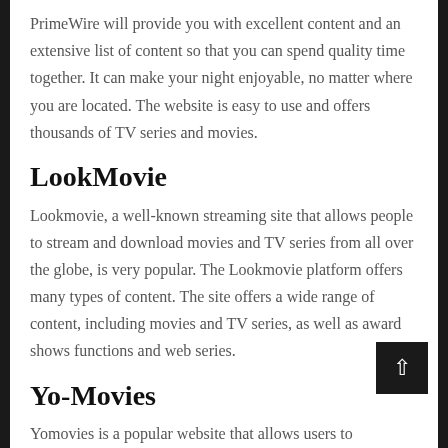PrimeWire will provide you with excellent content and an extensive list of content so that you can spend quality time together. It can make your night enjoyable, no matter where you are located. The website is easy to use and offers thousands of TV series and movies.
LookMovie
Lookmovie, a well-known streaming site that allows people to stream and download movies and TV series from all over the globe, is very popular. The Lookmovie platform offers many types of content. The site offers a wide range of content, including movies and TV series, as well as award shows functions and web series.
Yo-Movies
Yomovies is a popular website that allows users to download thousands and thousands of video and web series right from